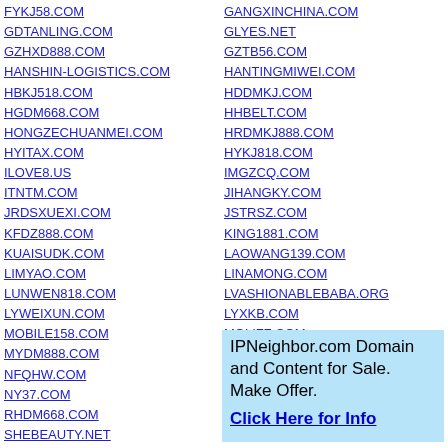FYKJ58.COM
GDTANLING.COM
GZHXD888.COM
HANSHIN-LOGISTICS.COM
HBKJ518.COM
HGDM668.COM
HONGZECHUANMEI.COM
HYITAX.COM
ILOVE8.US
ITNTM.COM
JRDSXUEXI.COM
KFDZ888.COM
KUAISUDK.COM
LIMYAO.COM
LUNWEN818.COM
LYWEIXUN.COM
MOBILE158.COM
MYDM888.COM
NFQHW.COM
NY37.COM
RHDM668.COM
SHEBEAUTY.NET
SHUOSISHANKEJINGLING.INFO
SZDONGBANG.COM
SZYDCKB.COM
TLDMKJ.COM
TWWKDZ888.COM
UUNMS.COM
GANGXINCHINA.COM
GLYES.NET
GZTB56.COM
HANTINGMIWEI.COM
HDDMKJ.COM
HHBELT.COM
HRDMKJ888.COM
HYKJ818.COM
IMGZCQ.COM
JIHANGKY.COM
JSTRSZ.COM
KING1881.COM
LAOWANG139.COM
LINAMONG.COM
LVASHIONABLEBABA.ORG
LYXKB.COM
MOLIFZ.COM
NAIWEIXIANNAIBA.COM
NJLJFS.COM
QZYDSC.COM
RIUXINBB.COM
SHIJIAZHUANGWANG.COM
SIGEWINE.COM
IPNeighbor.com Domain and Content for Sale. Make Offer. Click Here for Info